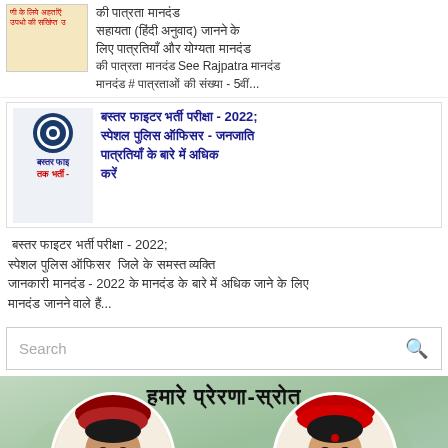की पात्रता मानदंड सहायता (हिंदी अनुवाद) जानने के लिए पात्रतियाँ और योग्यता मानदंड की पात्रता मानदंड See Rajpatra मानदंड मानदंड # पात्रताओं की संख्या - 5वीं...
[Figure (screenshot): Thumbnail image with red Hindi text for eligibility details]
बस्तर फाइटर भर्ती - 2022; स्पेशल पुलिस ऑफिसर - जनजाति पात्रतियाँ के बारे में अधिक जानकारी प्राप्त करें
[Figure (logo): Police emblem / badge with text बस्तर फाइ and तक भर्ती]
बस्तर फाइटर भर्ती परीक्षा - 2022; स्पेशल पुलिस ऑफिसर  जिले के समस्त व्यक्ति जानकारी मानदंड - 2022 के मानदंड के बारे में अधिक जानने के लिए मानदंड जानने वाले हैं...
Search
[Figure (photo): Banner image with text 'हमारे प्रेरणा-स्रोत' and two portrait photos of individuals]